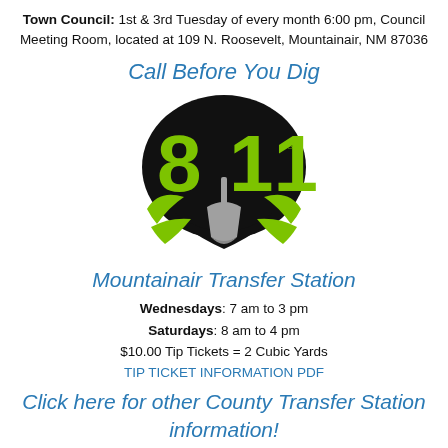Town Council: 1st & 3rd Tuesday of every month 6:00 pm, Council Meeting Room, located at 109 N. Roosevelt, Mountainair, NM 87036
Call Before You Dig
[Figure (logo): 811 Call Before You Dig logo — green '811' numerals over a black shield with a gray shovel and green swoosh elements]
Mountainair Transfer Station
Wednesdays: 7 am to 3 pm
Saturdays: 8 am to 4 pm
$10.00 Tip Tickets = 2 Cubic Yards
TIP TICKET INFORMATION PDF
Click here for other County Transfer Station information!